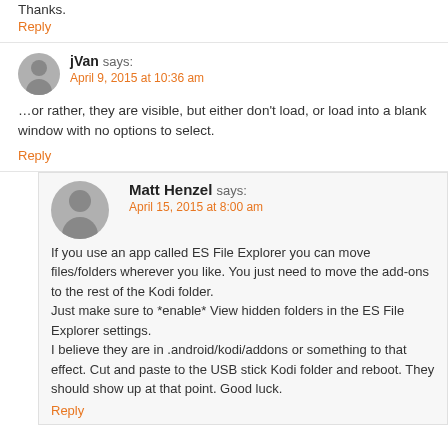Thanks.
Reply
jVan says:
April 9, 2015 at 10:36 am
…or rather, they are visible, but either don't load, or load into a blank window with no options to select.
Reply
Matt Henzel says:
April 15, 2015 at 8:00 am
If you use an app called ES File Explorer you can move files/folders wherever you like. You just need to move the add-ons to the rest of the Kodi folder.
Just make sure to *enable* View hidden folders in the ES File Explorer settings.
I believe they are in .android/kodi/addons or something to that effect. Cut and paste to the USB stick Kodi folder and reboot. They should show up at that point. Good luck.
Reply